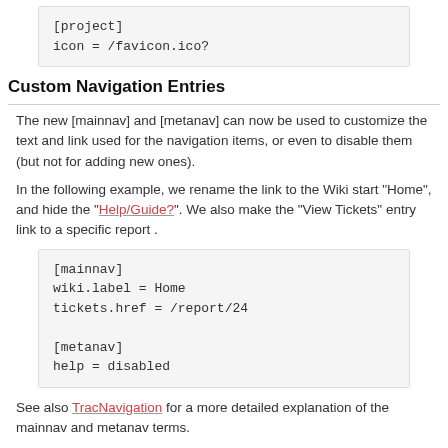[project]
icon = /favicon.ico?
Custom Navigation Entries
The new [mainnav] and [metanav] can now be used to customize the text and link used for the navigation items, or even to disable them (but not for adding new ones).
In the following example, we rename the link to the Wiki start "Home", and hide the "Help/Guide?". We also make the "View Tickets" entry link to a specific report .
[mainnav]
wiki.label = Home
tickets.href = /report/24

[metanav]
help = disabled
See also TracNavigation for a more detailed explanation of the mainnav and metanav terms.
Site Appearance
Trac is using Genshi as the templating engine. Documentation is yet to be written, in the meantime the following tip should work.